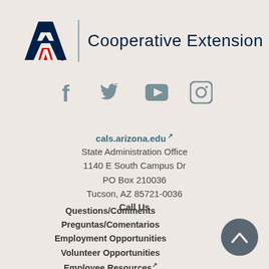[Figure (logo): University of Arizona Cooperative Extension logo with UA block A letter mark and text]
[Figure (infographic): Social media icons: Facebook, Twitter, YouTube, Instagram in grey/teal color]
cals.arizona.edu
State Administration Office
1140 E South Campus Dr
PO Box 210036
Tucson, AZ 85721-0036
Call Us
Questions/Comments
Preguntas/Comentarios
Employment Opportunities
Volunteer Opportunities
Employee Resources
Website Log In